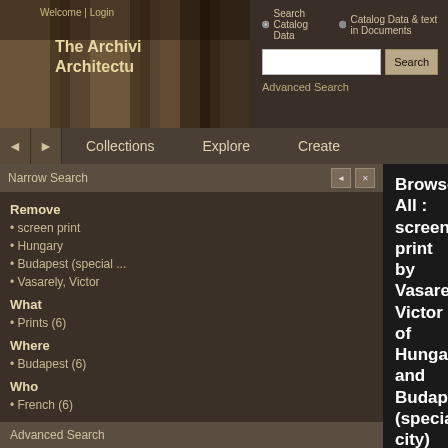Welcome | Login
The Archivi
Architectu
Search Catalog Data  Catalog Data & text in Documents  Search  Advanced Search
Collections  Explore  Create
Narrow Search
Remove
• screen print
• Hungary
• Budapest (special ...
• Vasarely, Victor
What
• Prints (6)
Where
• Budapest (6)
Who
• French (6)
When
• Twentieth centu ... (6)
• Op art (6)
Advanced Search
Browse All : screen print by Vasarely, Victor of Hungary and Budapest (special city)
1-6 of 6
[Figure (illustration): Vasarely Op Art checkerboard screen print - black and white geometric optical illusion pattern with bulging/distorted checkerboard effect, silver/grey border]
Nora-Dell
1974-1979 (creation)
repository: Vasarely Múzeum ...
Victor Vasarely (French prin...